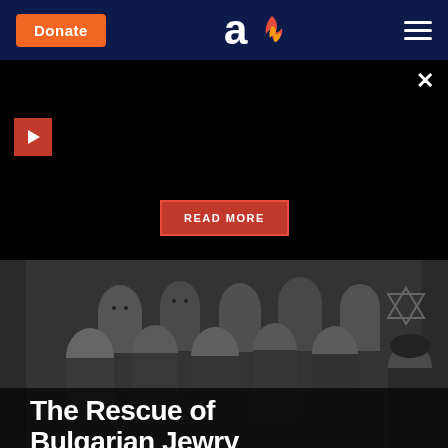Donate | [Aish logo] | [Menu]
[Figure (screenshot): Dark banner with play button in top-left and READ MORE button in center, with close X button top-right]
[Figure (photo): Black and white group photo of people, with text overlay reading 'The Rescue of Bulgarian Jewry'. A Star of David is visible on the right side.]